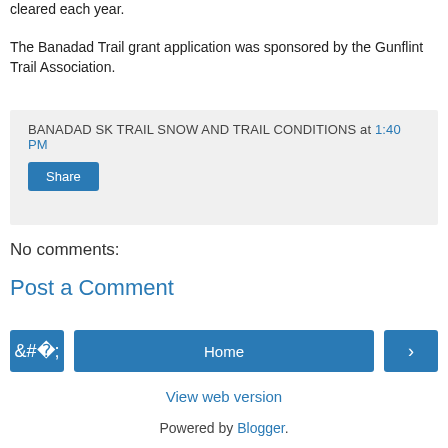cleared each year.
The Banadad Trail grant application was sponsored by the Gunflint Trail Association.
BANADAD SK TRAIL SNOW AND TRAIL CONDITIONS at 1:40 PM
Share
No comments:
Post a Comment
Home
View web version
Powered by Blogger.